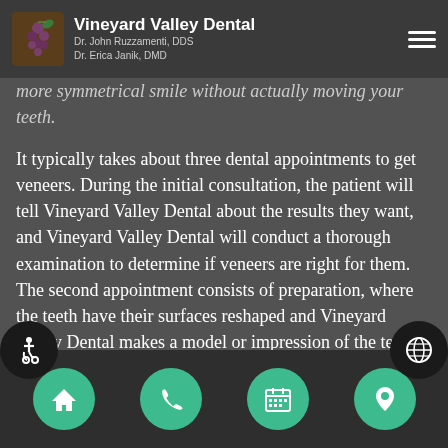Vineyard Valley Dental
Dr. John Ruzzamenti, DDS
Dr. Erica Janik, DMD
more symmetrical smile without actually moving your teeth.
It typically takes about three dental appointments to get veneers. During the initial consultation, the patient will tell Vineyard Valley Dental about the results they want, and Vineyard Valley Dental will conduct a thorough examination to determine if veneers are right for them. The second appointment consists of preparation, where the teeth have their surfaces reshaped and Vineyard Valley Dental makes a model or impression of the teeth. In the third
Navigation icons: home, phone, calendar, location